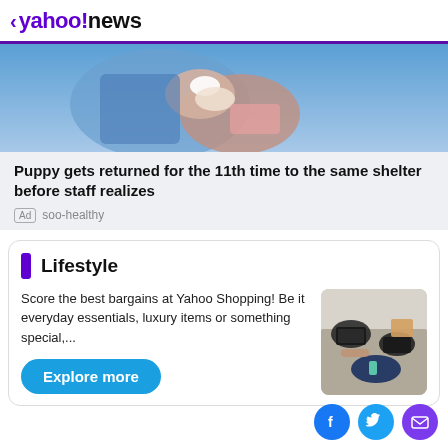< yahoo!news
[Figure (photo): Hands holding a small puppy with a bandaged paw, blue clothing in background]
Puppy gets returned for the 11th time to the same shelter before staff realizes
Ad soo-healthy
Lifestyle
Score the best bargains at Yahoo Shopping! Be it everyday essentials, luxury items or something special,...
[Figure (photo): Aerial view of people working on laptops on the floor]
Explore more